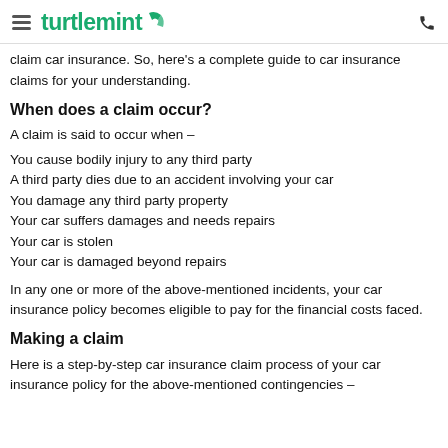turtlemint
claim car insurance. So, here's a complete guide to car insurance claims for your understanding.
When does a claim occur?
A claim is said to occur when –
You cause bodily injury to any third party
A third party dies due to an accident involving your car
You damage any third party property
Your car suffers damages and needs repairs
Your car is stolen
Your car is damaged beyond repairs
In any one or more of the above-mentioned incidents, your car insurance policy becomes eligible to pay for the financial costs faced.
Making a claim
Here is a step-by-step car insurance claim process of your car insurance policy for the above-mentioned contingencies –